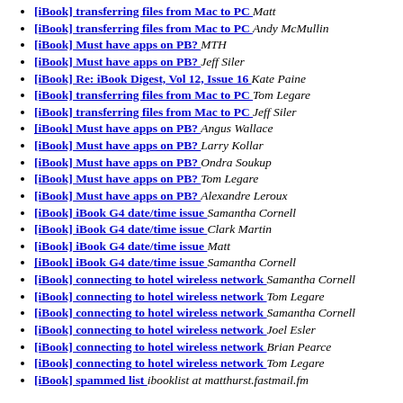[iBook] transferring files from Mac to PC  Matt
[iBook] transferring files from Mac to PC  Andy McMullin
[iBook] Must have apps on PB?  MTH
[iBook] Must have apps on PB?  Jeff Siler
[iBook] Re: iBook Digest, Vol 12, Issue 16  Kate Paine
[iBook] transferring files from Mac to PC  Tom Legare
[iBook] transferring files from Mac to PC  Jeff Siler
[iBook] Must have apps on PB?  Angus Wallace
[iBook] Must have apps on PB?  Larry Kollar
[iBook] Must have apps on PB?  Ondra Soukup
[iBook] Must have apps on PB?  Tom Legare
[iBook] Must have apps on PB?  Alexandre Leroux
[iBook] iBook G4 date/time issue  Samantha Cornell
[iBook] iBook G4 date/time issue  Clark Martin
[iBook] iBook G4 date/time issue  Matt
[iBook] iBook G4 date/time issue  Samantha Cornell
[iBook] connecting to hotel wireless network  Samantha Cornell
[iBook] connecting to hotel wireless network  Tom Legare
[iBook] connecting to hotel wireless network  Samantha Cornell
[iBook] connecting to hotel wireless network  Joel Esler
[iBook] connecting to hotel wireless network  Brian Pearce
[iBook] connecting to hotel wireless network  Tom Legare
[iBook] spammed list  ibooklist at matthurst.fastmail.fm